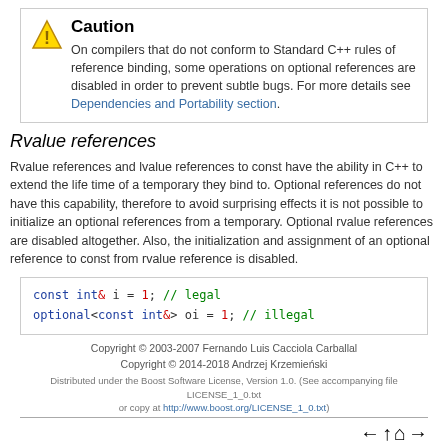Caution
On compilers that do not conform to Standard C++ rules of reference binding, some operations on optional references are disabled in order to prevent subtle bugs. For more details see Dependencies and Portability section.
Rvalue references
Rvalue references and lvalue references to const have the ability in C++ to extend the life time of a temporary they bind to. Optional references do not have this capability, therefore to avoid surprising effects it is not possible to initialize an optional references from a temporary. Optional rvalue references are disabled altogether. Also, the initialization and assignment of an optional reference to const from rvalue reference is disabled.
[Figure (screenshot): Code box with two lines: 'const int& i = 1; // legal' and 'optional<const int&> oi = 1; // illegal']
Copyright © 2003-2007 Fernando Luis Cacciola Carballal
Copyright © 2014-2018 Andrzej Krzemieński
Distributed under the Boost Software License, Version 1.0. (See accompanying file LICENSE_1_0.txt or copy at http://www.boost.org/LICENSE_1_0.txt)